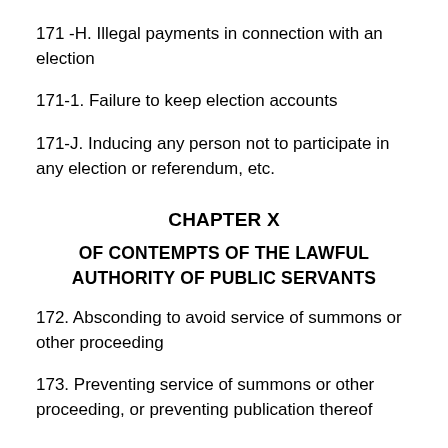171 -H. Illegal payments in connection with an election
171-1. Failure to keep election accounts
171-J. Inducing any person not to participate in any election or referendum, etc.
CHAPTER X
OF CONTEMPTS OF THE LAWFUL AUTHORITY OF PUBLIC SERVANTS
172. Absconding to avoid service of summons or other proceeding
173. Preventing service of summons or other proceeding, or preventing publication thereof